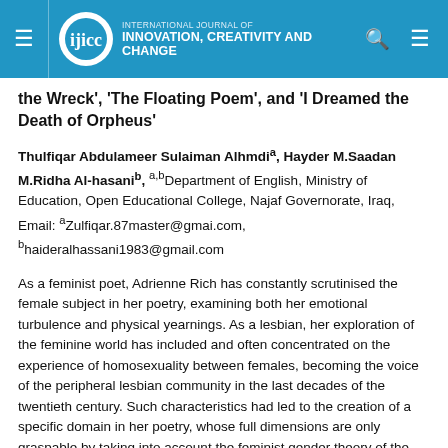INTERNATIONAL JOURNAL OF INNOVATION, CREATIVITY AND CHANGE
the Wreck', 'The Floating Poem', and 'I Dreamed the Death of Orpheus'
Thulfiqar Abdulameer Sulaiman Alhmdia, Hayder M.Saadan M.Ridha Al-hasanib, a,bDepartment of English, Ministry of Education, Open Educational College, Najaf Governorate, Iraq, Email: aZulfiqar.87master@gmai.com, bhaideralhassani1983@gmail.com
As a feminist poet, Adrienne Rich has constantly scrutinised the female subject in her poetry, examining both her emotional turbulence and physical yearnings. As a lesbian, her exploration of the feminine world has included and often concentrated on the experience of homosexuality between females, becoming the voice of the peripheral lesbian community in the last decades of the twentieth century. Such characteristics had led to the creation of a specific domain in her poetry, whose full dimensions are only graspable by taking into account the feminist gender theory of the famous French thinker